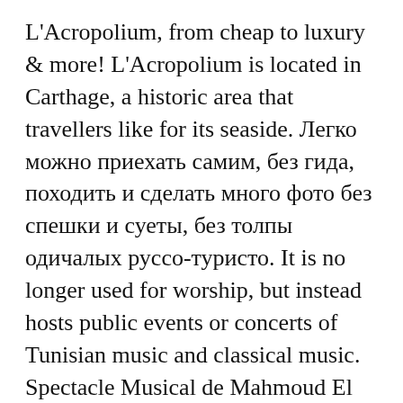L'Acropolium, from cheap to luxury & more! L'Acropolium is located in Carthage, a historic area that travellers like for its seaside. Легко можно приехать самим, без гида, походить и сделать много фото без спешки и суеты, без толпы одичалых руссо-туристо. It is no longer used for worship, but instead hosts public events or concerts of Tunisian music and classical music. Spectacle Musical de Mahmoud El Moussaoui (Maroc) 26 octobre à 20:00 @Acropolium de Carthage. In June 2011 we travelled to newly post-revolution Tunisia – where the Arab Spring had first started. Since 2003 we have been gaining experience which has made us experts in different areas of software development." Created by Misstu